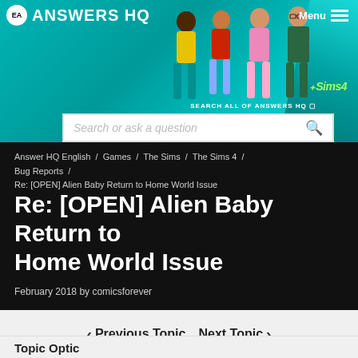[Figure (screenshot): EA Answers HQ website header with teal background, Sims 4 characters, EA logo, site title, hamburger menu, Sims 4 logo, and search bar]
Answer HQ English / Games / The Sims / The Sims 4 / Bug Reports / Re: [OPEN] Alien Baby Return to Home World Issue
Re: [OPEN] Alien Baby Return to Home World Issue
February 2018 by comicsforever
< Previous Topic   Next Topic >
Topic Optic